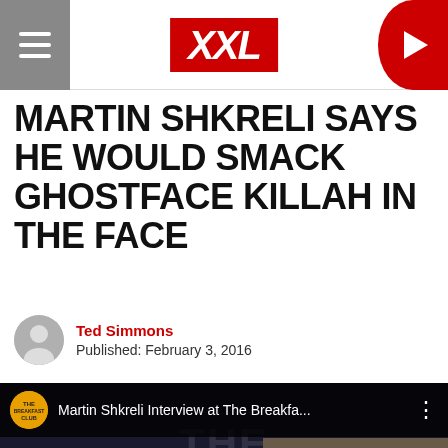XXL
MARTIN SHKRELI SAYS HE WOULD SMACK GHOSTFACE KILLAH IN THE FACE
Ted Simmons
Published: February 3, 2016
[Figure (screenshot): YouTube video thumbnail showing Martin Shkreli Interview at The Breakfast Club, with text overlay 'MARTIN SHKRELI INTERVIEW' and a YouTube play button.]